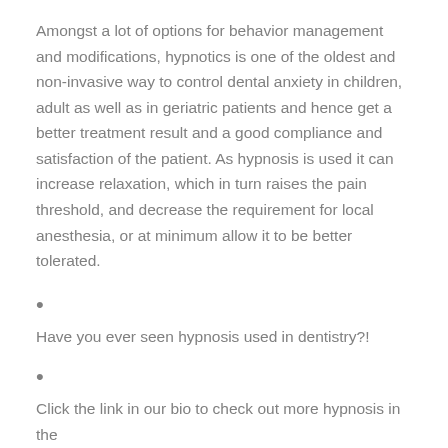Amongst a lot of options for behavior management and modifications, hypnotics is one of the oldest and non-invasive way to control dental anxiety in children, adult as well as in geriatric patients and hence get a better treatment result and a good compliance and satisfaction of the patient. As hypnosis is used it can increase relaxation, which in turn raises the pain threshold, and decrease the requirement for local anesthesia, or at minimum allow it to be better tolerated.
•
Have you ever seen hypnosis used in dentistry?!
•
Click the link in our bio to check out more hypnosis in the